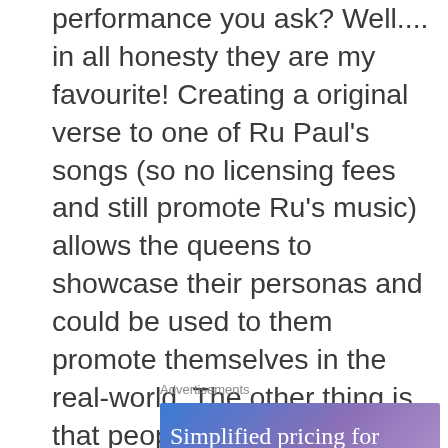performance you ask? Well.... in all honesty they are my favourite! Creating a original verse to one of Ru Paul's songs (so no licensing fees and still promote Ru's music) allows the queens to showcase their personas and could be used to them promote themselves in the real-world. The other thing is that people on social media seem to always want to put down queens without really tried drag before. Having this show , would mean that theirs keyboard warriors can try drag and if they do good then great but if they don't do so well then maybe they should stop judging an art form you have no experience of (No queens should be sent hate anyway so that needs to stop generally!)
Advertisements
[Figure (other): Advertisement banner with blue-purple gradient background showing text 'Simplified pricing for']